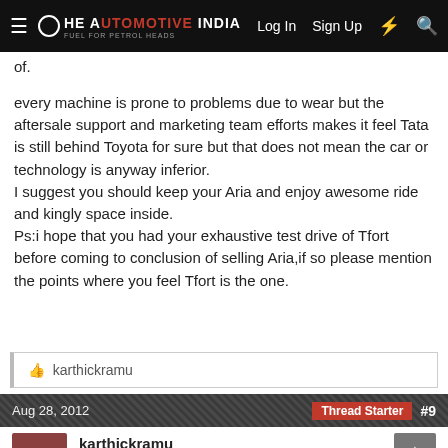The Automotive India — Log In  Sign Up  ⚡  🔍
of.
every machine is prone to problems due to wear but the aftersale support and marketing team efforts makes it feel Tata is still behind Toyota for sure but that does not mean the car or technology is anyway inferior.
I suggest you should keep your Aria and enjoy awesome ride and kingly space inside.
Ps:i hope that you had your exhaustive test drive of Tfort before coming to conclusion of selling Aria,if so please mention the points where you feel Tfort is the one.
👍  karthickramu
Aug 28, 2012   Thread Starter  #9
karthickramu
V6
@javadev, My option was like if not aria it is fortuner and TD i feel aria